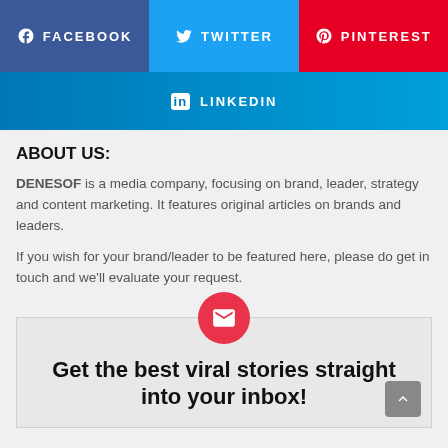[Figure (infographic): Social media share buttons row: Facebook (blue-purple), Twitter (light blue), Pinterest (red), and LinkedIn (blue gradient) buttons with icons and labels]
ABOUT US:
DENESOF is a media company, focusing on brand, leader, strategy and content marketing. It features original articles on brands and leaders.
If you wish for your brand/leader to be featured here, please do get in touch and we'll evaluate your request.
Get the best viral stories straight into your inbox!